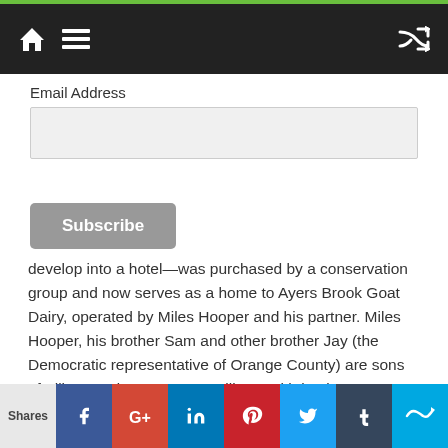Navigation bar with home, menu, and shuffle icons
Email Address
Subscribe
develop into a hotel—was purchased by a conservation group and now serves as a home to Ayers Brook Goat Dairy, operated by Miles Hooper and his partner. Miles Hooper, his brother Sam and other brother Jay (the Democratic representative of Orange County) are sons of Allison and Don Hooper. Allison, with business partner Bob Reese, founded Vermont Creamery and is now helping her sons carrying on local traditions.
Shares | Facebook | G+ | LinkedIn | Pinterest | Twitter | Tumblr | More